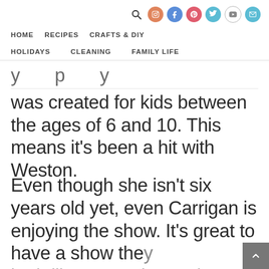HOME   RECIPES   CRAFTS & DIY   HOLIDAYS   CLEANING   FAMILY LIFE
was created for kids between the ages of 6 and 10. This means it's been a hit with Weston.
Even though she isn't six years old yet, even Carrigan is enjoying the show. It's great to have a show they both like to watch together. They love playing knights so I guess I